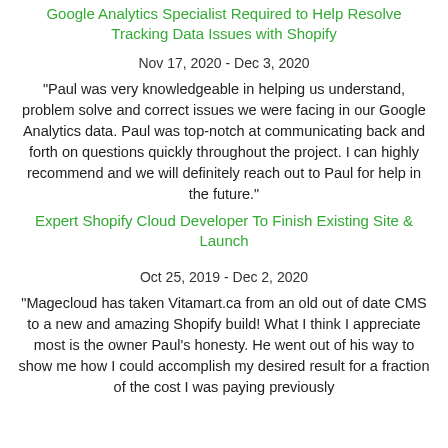Google Analytics Specialist Required to Help Resolve Tracking Data Issues with Shopify
Nov 17, 2020 - Dec 3, 2020
"Paul was very knowledgeable in helping us understand, problem solve and correct issues we were facing in our Google Analytics data. Paul was top-notch at communicating back and forth on questions quickly throughout the project. I can highly recommend and we will definitely reach out to Paul for help in the future."
Expert Shopify Cloud Developer To Finish Existing Site & Launch
Oct 25, 2019 - Dec 2, 2020
"Magecloud has taken Vitamart.ca from an old out of date CMS to a new and amazing Shopify build! What I think I appreciate most is the owner Paul's honesty. He went out of his way to show me how I could accomplish my desired result for a fraction of the cost I was paying previously